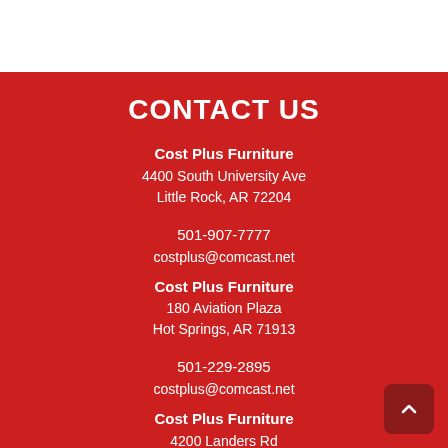CONTACT US
Cost Plus Furniture
4400 South University Ave
Little Rock, AR 72204
501-907-7777
costplus@comcast.net
Cost Plus Furniture
180 Aviation Plaza
Hot Springs, AR 71913
501-229-2895
costplus@comcast.net
Cost Plus Furniture
4200 Landers Rd
North Little Rock, AR 72117